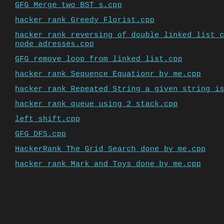GFG Merge two BST_s.cpp
hacker_rank_Greedy_Florist.cpp
hacker_rank_reversing_of_double_linked_list_c node_adresses.cpp
GFG_remove_loop_from_linked_list.cpp
hacker_rank_Sequence_Equationr_by_me.cpp
hacker_rank_Repeated_String_a_given_string_is
hacker_rank_queue_using_2_stack.cpp
left_shift.cpp
GFG_DFS.cpp
HackerRank_The_Grid_Search_done_by_me.cpp
hacker_rank_Mark_and_Toys_done_by_me.cpp